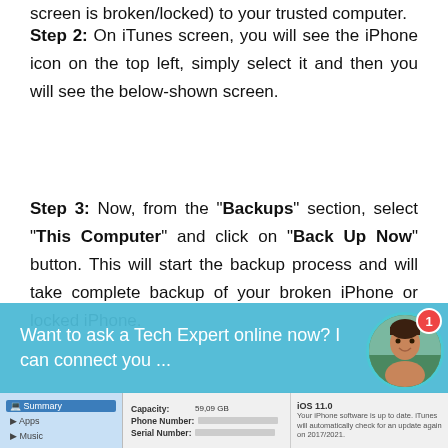screen is broken/locked) to your trusted computer.
Step 2: On iTunes screen, you will see the iPhone icon on the top left, simply select it and then you will see the below-shown screen.
Step 3: Now, from the “Backups” section, select “This Computer” and click on “Back Up Now” button. This will start the backup process and will take complete backup of your broken iPhone or locked iPhone.
[Figure (screenshot): iTunes screenshot showing device summary with Capacity, Phone Number, Serial Number fields on left and iOS 11.0 update information on right, with a selected sidebar item.]
Want to ask a Tech Expert online now? I can connect you ...